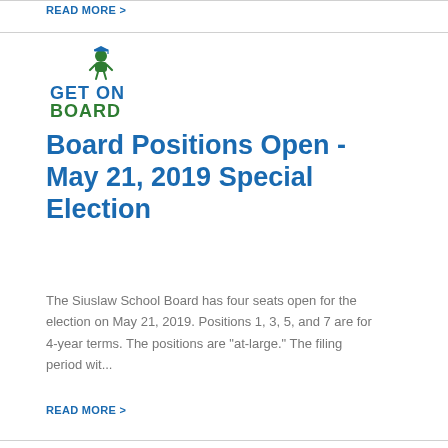READ MORE >
[Figure (logo): Get On Board logo with graduation cap figure, green and blue text]
Board Positions Open - May 21, 2019 Special Election
The Siuslaw School Board has four seats open for the election on May 21, 2019. Positions 1, 3, 5, and 7 are for 4-year terms. The positions are "at-large." The filing period wit...
READ MORE >